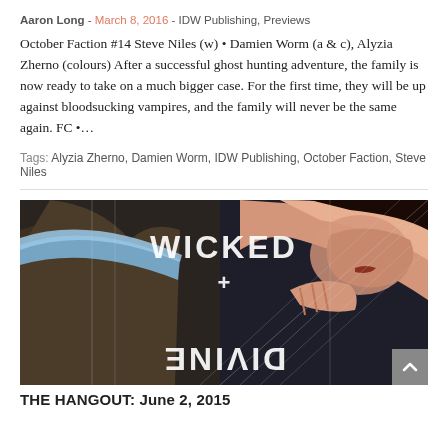Aaron Long - March 8, 2016 - IDW Publishing, Previews
October Faction #14 Steve Niles (w) • Damien Worm (a & c), Alyzia Zherno (colours) After a successful ghost hunting adventure, the family is now ready to take on a much bigger case. For the first time, they will be up against bloodsucking vampires, and the family will never be the same again. FC •…
Tags: Alyzia Zherno, Damien Worm, IDW Publishing, October Faction, Steve Niles
[Figure (illustration): Comic book cover for 'Wicked + Divine' showing two stylized figures close together. The title 'WICKED + DIVINE' is displayed with the word DIVINE appearing upside down at the bottom. The image has a dark, dramatic art style.]
THE HANGOUT: June 2, 2015